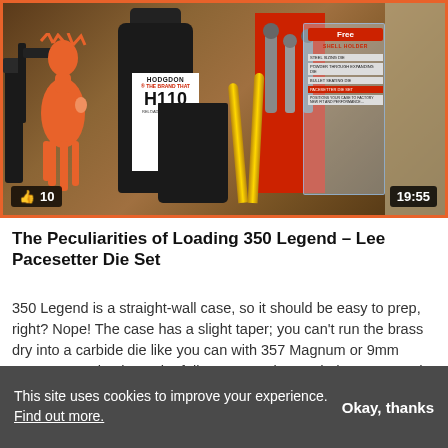[Figure (screenshot): Video thumbnail showing reloading equipment: Hodgdon H110 powder bottle, Lee Pacesetter die set, bullets, magazine, and orange deer silhouette on a wooden surface. Like count shows 10 and duration shows 19:55.]
The Peculiarities of Loading 350 Legend – Lee Pacesetter Die Set
350 Legend is a straight-wall case, so it should be easy to prep, right? Nope! The case has a slight taper; you can't run the brass dry into a carbide die like you can with 357 Magnum or 9mm Luger. Let's check out the full process using Hodgdon H110 and the superb Lee Pacesetter die […]
This site uses cookies to improve your experience. Find out more.
Okay, thanks